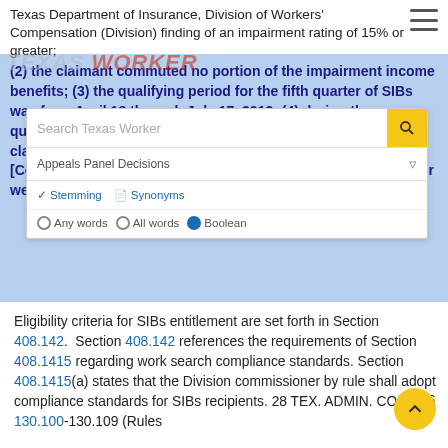Texas Department of Insurance, Division of Workers' Compensation (Division) finding of an impairment rating of 15% or greater;
(2) the claimant commuted no portion of the impairment income benefits; (3) the qualifying period for the fifth quarter of SIBs was from April 18 through July 17, 2013; (4) during the qualifying period, the claimant was unemployed; (5) the claimant is a resident of [County], Texas; and (6) residents of [County] are required to make at least 6 job search contacts per week to qualify for SIBs.
Eligibility criteria for SIBs entitlement are set forth in Section 408.142. Section 408.142 references the requirements of Section 408.1415 regarding work search compliance standards. Section 408.1415(a) states that the Division commissioner by rule shall adopt compliance standards for SIBs recipients. 28 TEX. ADMIN. CODE §§ 130.100-130.109 (Rules